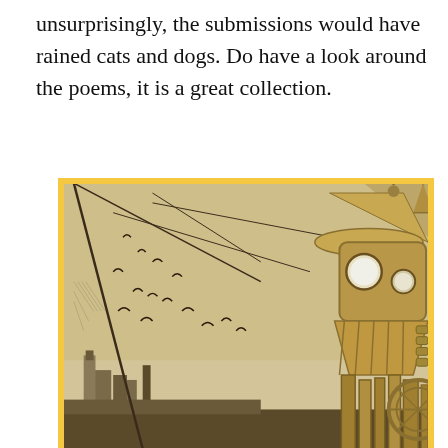unsurprisingly, the submissions would have rained cats and dogs. Do have a look around the poems, it is a great collection.
[Figure (illustration): A sepia-toned illustration depicting a large mechanical steampunk robot or war machine with a hat-like top structure, circular eye-like porthole windows, mechanical legs, gears and pipes, standing amid a city with buildings in the background. Birds fly in the sky. The image has a yellowish-golden border.]